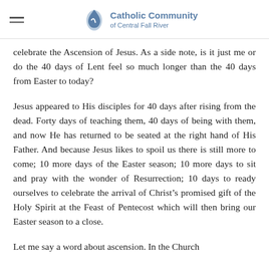Catholic Community of Central Fall River
celebrate the Ascension of Jesus. As a side note, is it just me or do the 40 days of Lent feel so much longer than the 40 days from Easter to today?
Jesus appeared to His disciples for 40 days after rising from the dead. Forty days of teaching them, 40 days of being with them, and now He has returned to be seated at the right hand of His Father. And because Jesus likes to spoil us there is still more to come; 10 more days of the Easter season; 10 more days to sit and pray with the wonder of Resurrection; 10 days to ready ourselves to celebrate the arrival of Christ's promised gift of the Holy Spirit at the Feast of Pentecost which will then bring our Easter season to a close.
Let me say a word about ascension. In the Church